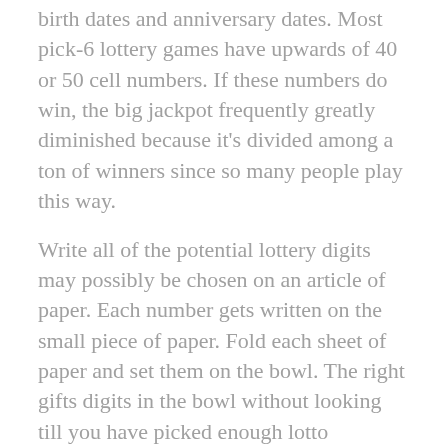birth dates and anniversary dates. Most pick-6 lottery games have upwards of 40 or 50 cell numbers. If these numbers do win, the big jackpot frequently greatly diminished because it's divided among a ton of winners since so many people play this way.
Write all of the potential lottery digits may possibly be chosen on an article of paper. Each number gets written on the small piece of paper. Fold each sheet of paper and set them on the bowl. The right gifts digits in the bowl without looking till you have picked enough lotto quantities. Never throw away [????????] of paper, perform make utilization of them another time you play inverted online lottery website.
Methods which apply the frequency theory would focus on hot numerals. This is where you should buy hot numbers as the a lot as have been the most winning num...